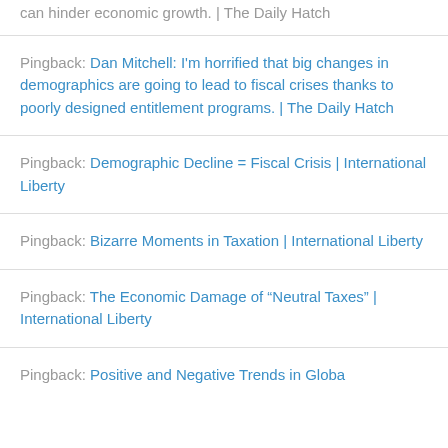Pingback: can hinder economic growth. | The Daily Hatch
Pingback: Dan Mitchell: I'm horrified that big changes in demographics are going to lead to fiscal crises thanks to poorly designed entitlement programs. | The Daily Hatch
Pingback: Demographic Decline = Fiscal Crisis | International Liberty
Pingback: Bizarre Moments in Taxation | International Liberty
Pingback: The Economic Damage of “Neutral Taxes” | International Liberty
Pingback: Positive and Negative Trends in Global